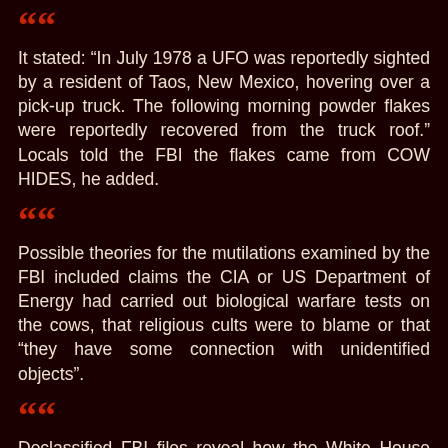It stated: “In July 1978 a UFO was reportedly sighted by a resident of Taos, New Mexico, hovering over a pick-up truck. The following morning powder flakes were reportedly recovered from the truck roof.” Locals told the FBI the flakes came from COW HIDES, he added.
Possible theories for the mutilations examined by the FBI included claims the CIA or US Department of Energy had carried out biological warfare tests on the cows, that religious cults were to blame or that “they have some connection with unidentified objects”.
Declassified FBI files reveal how the White House was sent into a panic by suspected alien sacrifices of COWS. THE US Air Force had a secret unit that probed UFO sightings for 22 years called Project Blue Book ran from